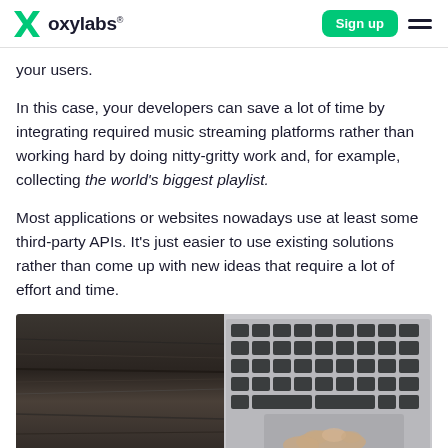oxylabs® | Sign up
your users.
In this case, your developers can save a lot of time by integrating required music streaming platforms rather than working hard by doing nitty-gritty work and, for example, collecting the world's biggest playlist.
Most applications or websites nowadays use at least some third-party APIs. It's just easier to use existing solutions rather than come up with new ideas that require a lot of effort and time.
[Figure (photo): A laptop keyboard viewed from above with a hand resting on the trackpad, placed on a dark wooden surface. The image is split — left half shows dark wood texture, right half shows the silver laptop keyboard.]